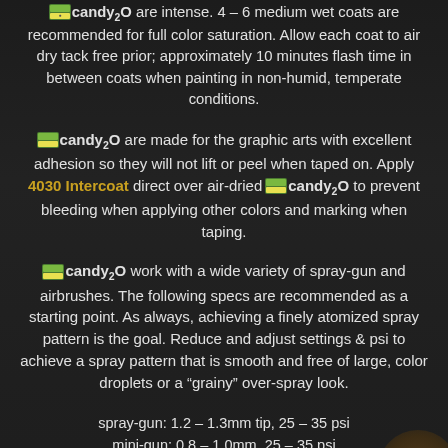candy2O are intense. 4 – 6 medium wet coats are recommended for full color saturation. Allow each coat to air dry tack free prior; approximately 10 minutes flash time in between coats when painting in non-humid, temperate conditions.
candy2O are made for the graphic arts with excellent adhesion so they will not lift or peel when taped on. Apply 4030 Intercoat direct over air-dried candy2O to prevent bleeding when applying other colors and marking when taping.
candy2O work with a wide variety of spray-gun and airbrushes. The following specs are recommended as a starting point. As always, achieving a finely atomized spray pattern is the goal. Reduce and adjust settings & psi to achieve a spray pattern that is smooth and free of large, color droplets or a "grainy" over-spray look.
spray-gun: 1.2 – 1.3mm tip, 25 – 35 psi
mini-gun: 0.8 – 1.0mm, 25 – 35 psi
airbrush: 0.5mm - mixing with 4030 generally enough, smaller tip-sizes reduce with 4012 High Performance or 4020